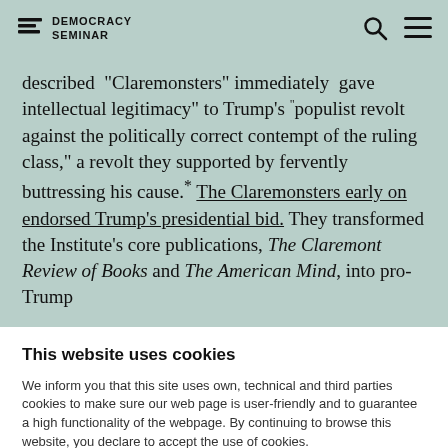DEMOCRACY SEMINAR
described “Claremonsters” immediately gave intellectual legitimacy” to Trump’s “populist revolt against the politically correct contempt of the ruling class,” a revolt they supported by fervently buttressing his cause.* The Claremonsters early on endorsed Trump’s presidential bid. They transformed the Institute’s core publications, The Claremont Review of Books and The American Mind, into pro-Trump
This website uses cookies
We inform you that this site uses own, technical and third parties cookies to make sure our web page is user-friendly and to guarantee a high functionality of the webpage. By continuing to browse this website, you declare to accept the use of cookies.
OK